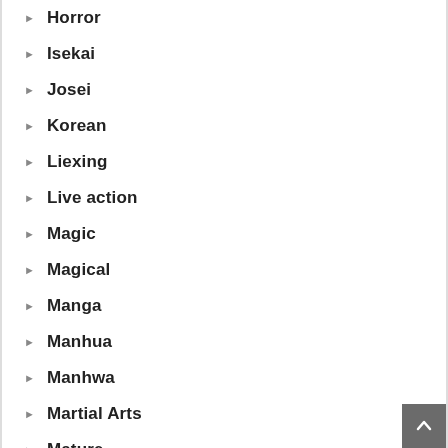Horror
Isekai
Josei
Korean
Liexing
Live action
Magic
Magical
Manga
Manhua
Manhwa
Martial Arts
Mature